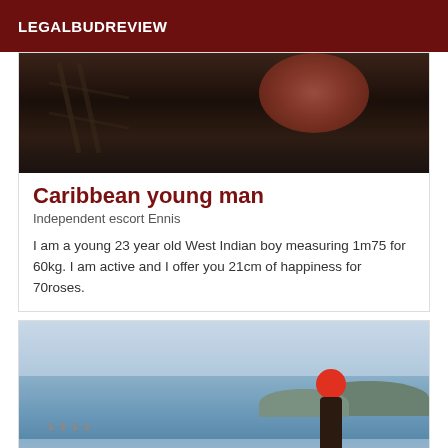LEGALBUDREVIEW
[Figure (photo): Close-up photo of a man with a beard, face partially visible, dark background with chair structure]
Caribbean young man
Independent escort Ennis
I am a young 23 year old West Indian boy measuring 1m75 for 60kg. I am active and I offer you 21cm of happiness for 70roses.
[Figure (photo): Person standing in a body of water at a beach or lake, face obscured by a red circle, hills visible in background]